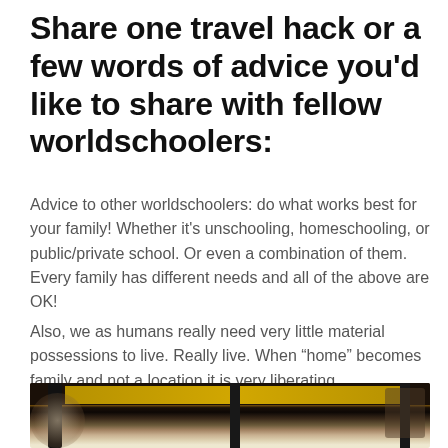Share one travel hack or a few words of advice you'd like to share with fellow worldschoolers:
Advice to other worldschoolers: do what works best for your family! Whether it's unschooling, homeschooling, or public/private school. Or even a combination of them. Every family has different needs and all of the above are OK!
Also, we as humans really need very little material possessions to live. Really live. When “home” becomes family and not a location it is very liberating.
[Figure (photo): Interior view from inside a vehicle (tuk-tuk or similar open-sided transport), showing the roof structure with yellow panels and dark metal pillars, with a street scene visible through the sides.]